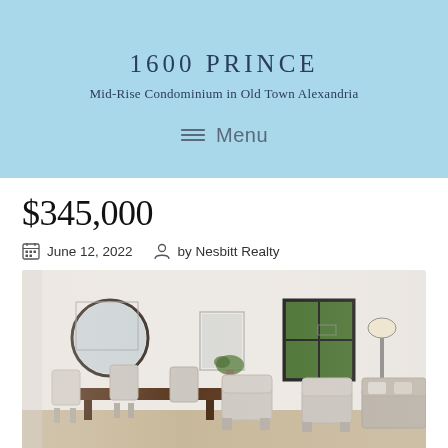1600 PRINCE
Mid-Rise Condominium in Old Town Alexandria
Menu
$345,000
June 12, 2022   by Nesbitt Realty
[Figure (photo): Interior photo of a bright condominium living/dining room with a round mirror on the wall, dining table with chairs, upholstered armchairs, a floor lamp, and a window with a view of green trees outside.]